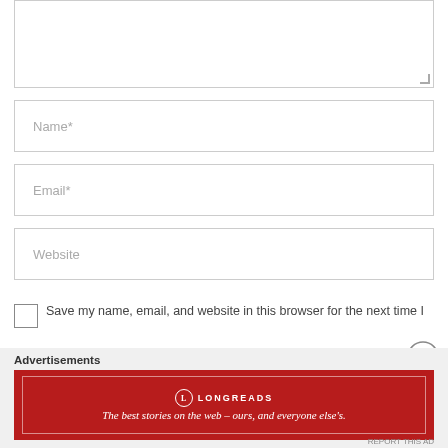[Figure (screenshot): Textarea input box for comment, partially visible at top]
Name*
Email*
Website
Save my name, email, and website in this browser for the next time I
Advertisements
[Figure (infographic): Longreads red advertisement banner: 'The best stories on the web – ours, and everyone else's.' with Longreads circle logo and inner border frame]